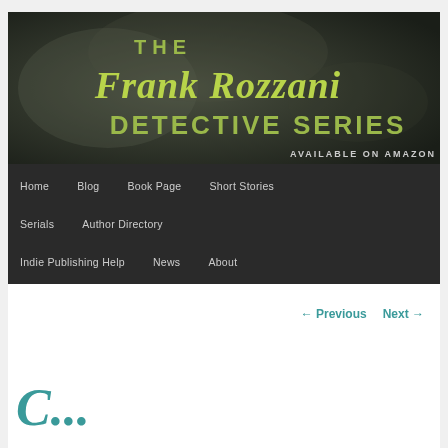[Figure (illustration): The Frank Rozzani Detective Series banner — dark smoky background with large lime-green italic text 'The Frank Rozzani DETECTIVE SERIES' and smaller text 'AVAILABLE ON AMAZON']
Home | Blog | Book Page | Short Stories | Serials | Author Directory | Indie Publishing Help | News | About
← Previous   Next →
C...